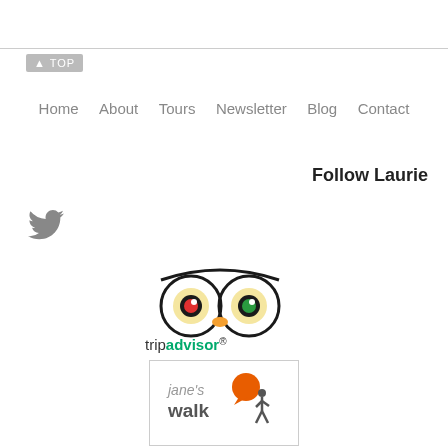▲ TOP
Home   About   Tours   Newsletter   Blog   Contact
Follow Laurie
[Figure (logo): Twitter bird icon in gray]
[Figure (logo): TripAdvisor logo with owl icon and text 'tripadvisor']
[Figure (logo): Jane's Walk logo with orange speech bubble and text]